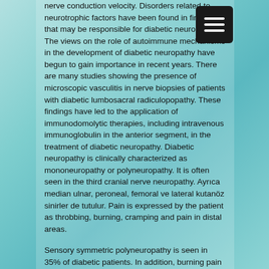nerve conduction velocity. Disorders related to neurotrophic factors have been found in findings that may be responsible for diabetic neuropathy. The views on the role of autoimmune mechanisms in the development of diabetic neuropathy have begun to gain importance in recent years. There are many studies showing the presence of microscopic vasculitis in nerve biopsies of patients with diabetic lumbosacral radiculopopathy. These findings have led to the application of immunodomolytic therapies, including intravenous immunoglobulin in the anterior segment, in the treatment of diabetic neuropathy. Diabetic neuropathy is clinically characterized as mononeuropathy or polyneuropathy. It is often seen in the third cranial nerve neuropathy. Ayrıca median ulnar, peroneal, femoral ve lateral kutanöz sinirler de tutulur. Pain is expressed by the patient as throbbing, burning, cramping and pain in distal areas.
Sensory symmetric polyneuropathy is seen in 35% of diabetic patients. In addition, burning pain complaint may be accompanied by drowsiness, paresthesia, and autonomic dysfunction.